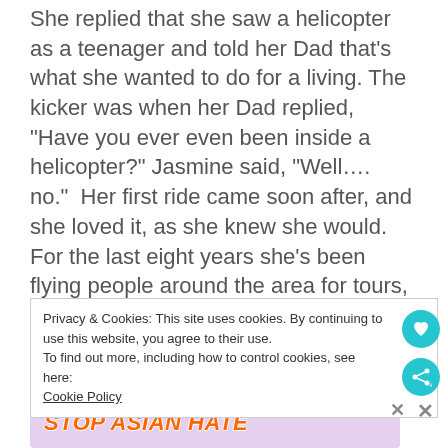She replied that she saw a helicopter as a teenager and told her Dad that's what she wanted to do for a living. The kicker was when her Dad replied, "Have you ever even been inside a helicopter?" Jasmine said, "Well.... no."  Her first ride came soon after, and she loved it, as she knew she would. For the last eight years she's been flying people around the area for tours, photo shoots, and more.
I'm proud to support women who make a
Privacy & Cookies: This site uses cookies. By continuing to use this website, you agree to their use.
To find out more, including how to control cookies, see here: Cookie Policy
[Figure (screenshot): Stop Asian Hate advertisement banner with purple floral background and animated character]